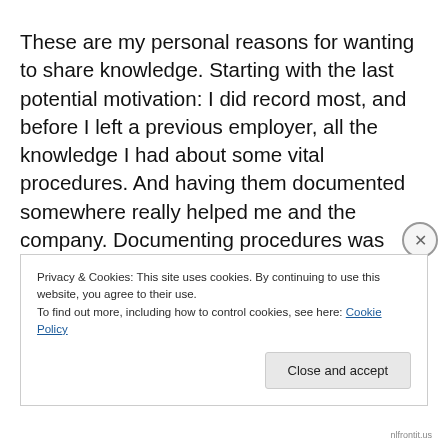These are my personal reasons for wanting to share knowledge. Starting with the last potential motivation: I did record most, and before I left a previous employer, all the knowledge I had about some vital procedures. And having them documented somewhere really helped me and the company. Documenting procedures was recognized as important in making processes less dependent on the good health and availability of employees. Part time...
Privacy & Cookies: This site uses cookies. By continuing to use this website, you agree to their use.
To find out more, including how to control cookies, see here: Cookie Policy